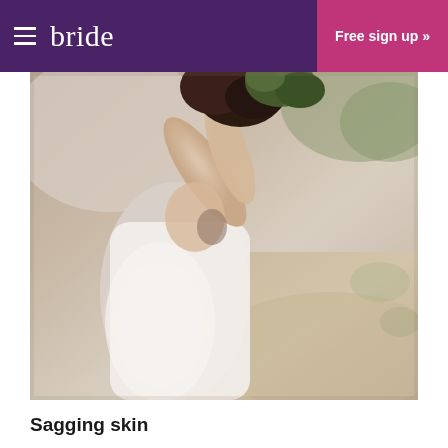bride  Free sign up »
[Figure (photo): A bride in a white lace wedding dress photographed from behind with arms raised holding a floral bouquet, outdoors with blurred natural background]
Sagging skin